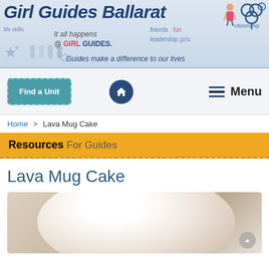Girl Guides Ballarat — It all happens @ GIRL GUIDES. friends fun citizenship life skills leadership girls Guides make a difference to our lives
[Figure (screenshot): Girl Guides Ballarat website header banner with logo, navigation bar with Find a Unit button, home icon, and Menu button, breadcrumb navigation showing Home > Lava Mug Cake]
Resources For Guides
Lava Mug Cake
[Figure (photo): Close-up photo of a white mug or bowl seen from above, with a soft warm background]